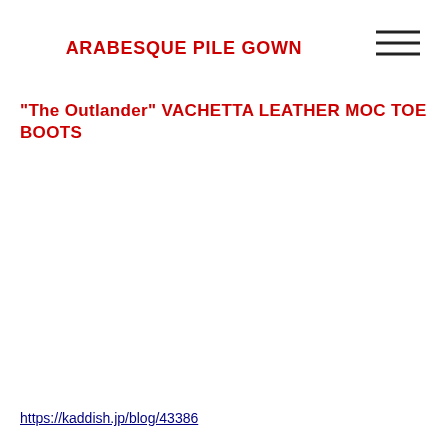ARABESQUE PILE GOWN
[Figure (other): Hamburger menu icon (three horizontal lines)]
“The Outlander” VACHETTA LEATHER MOC TOE BOOTS
https://kaddish.jp/blog/43386